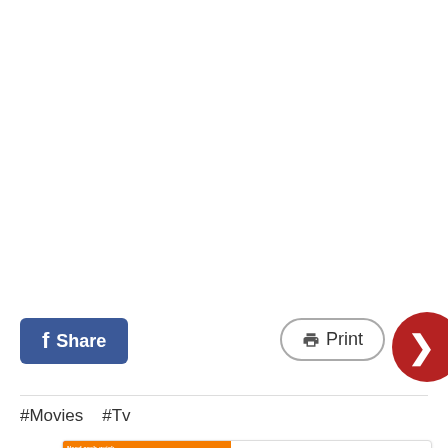[Figure (screenshot): Facebook Share button (blue, rounded rectangle with f icon and 'Share' text) and a Print button (outlined pill shape with printer icon and 'Print' text), and a red circle with right arrow (>) partially cut off at right edge]
#Movies   #Tv
[Figure (screenshot): Ad banner for BitLife - Life Simulator app. Left side shows red background with app screenshot. Right side shows 'BitLife - Life Simulator' title and 'Install!' link in blue.]